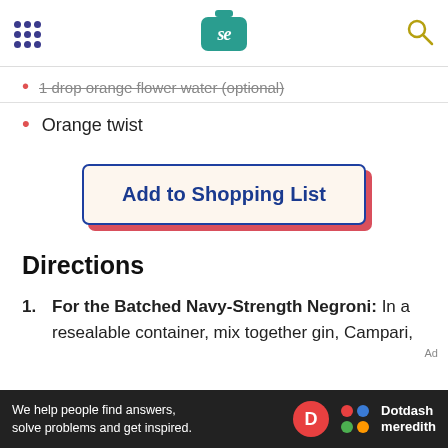SE logo header with navigation dots and search icon
1 drop orange flower water (optional)
Orange twist
Add to Shopping List
Directions
1. For the Batched Navy-Strength Negroni: In a resealable container, mix together gin, Campari,
Ad — We help people find answers, solve problems and get inspired. Dotdash meredith